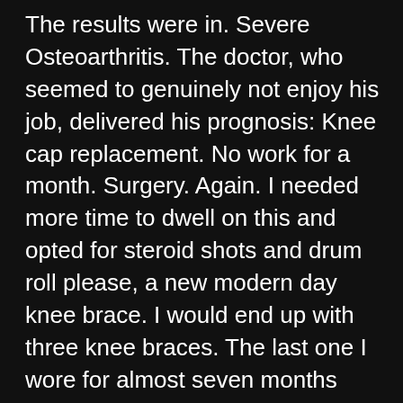The results were in. Severe Osteoarthritis. The doctor, who seemed to genuinely not enjoy his job, delivered his prognosis: Knee cap replacement. No work for a month. Surgery. Again. I needed more time to dwell on this and opted for steroid shots and drum roll please, a new modern day knee brace. I would end up with three knee braces. The last one I wore for almost seven months straight. The metal bars were sheathed in a stylish black rubbery substance. The circular device at the center was supposed to keep my knee cap stabilized. Its task was to hold the center. Doubled up straps on top and bottom made it awkward for any blood trying to reach my feet. The